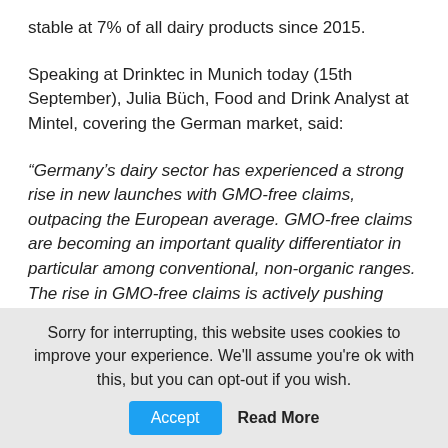stable at 7% of all dairy products since 2015.
Speaking at Drinktec in Munich today (15th September), Julia Büch, Food and Drink Analyst at Mintel, covering the German market, said:
“Germany’s dairy sector has experienced a strong rise in new launches with GMO-free claims, outpacing the European average. GMO-free claims are becoming an important quality differentiator in particular among conventional, non-organic ranges. The rise in GMO-free claims is actively pushing public awareness of the fact that dairy products may derive from animals fed genetically modified food.”
Sorry for interrupting, this website uses cookies to improve your experience. We’ll assume you’re ok with this, but you can opt-out if you wish.